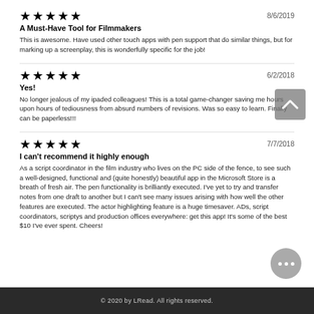[Figure (other): Five black stars rating]
8/6/2019
A Must-Have Tool for Filmmakers
This is awesome. Have used other touch apps with pen support that do similar things, but for marking up a screenplay, this is wonderfully specific for the job!
[Figure (other): Five black stars rating]
6/2/2018
Yes!
No longer jealous of my ipaded colleagues! This is a total game-changer saving me hours upon hours of tediousness from absurd numbers of revisions. Was so easy to learn. Finally can be paperless!!!
[Figure (other): Five black stars rating]
7/7/2018
I can't recommend it highly enough
As a script coordinator in the film industry who lives on the PC side of the fence, to see such a well-designed, functional and (quite honestly) beautiful app in the Microsoft Store is a breath of fresh air. The pen functionality is brilliantly executed. I've yet to try and transfer notes from one draft to another but I can't see many issues arising with how well the other features are executed. The actor highlighting feature is a huge timesaver. ADs, script coordinators, scriptys and production offices everywhere: get this app! It's some of the best $10 I've ever spent. Cheers!
© 2020 by LRead. All rights reserved.